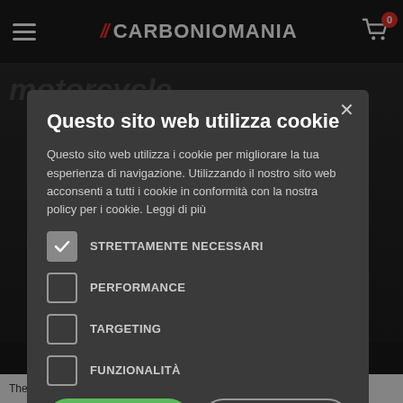[Figure (screenshot): Carboniomania website header/navigation bar with hamburger menu, red and white logo, and shopping cart icon with 0 badge]
Questo sito web utilizza cookie
Questo sito web utilizza i cookie per migliorare la tua esperienza di navigazione. Utilizzando il nostro sito web acconsenti a tutti i cookie in conformità con la nostra policy per i cookie. Leggi di più
STRETTAMENTE NECESSARI (checked)
PERFORMANCE (unchecked)
TARGETING (unchecked)
FUNZIONALITA (unchecked)
ACCETTA TUTTO | RIFIUTA TUTTO
The Yamaha YZF-R6 is a medium-class performance motorcycle (600 cc...)